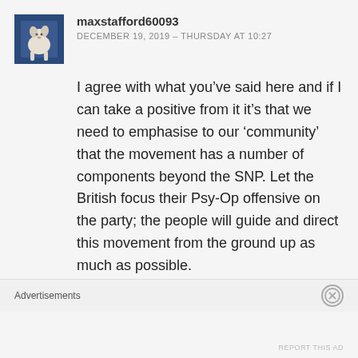[Figure (photo): Small avatar photo of a white dog sitting, against a dark blue background]
maxstafford60093
DECEMBER 19, 2019 - THURSDAY AT 10:27
I agree with what you’ve said here and if I can take a positive from it it’s that we need to emphasise to our ‘community’ that the movement has a number of components beyond the SNP. Let the British focus their Psy-Op offensive on the party; the people will guide and direct this movement from the ground up as much as possible.
Advertisements